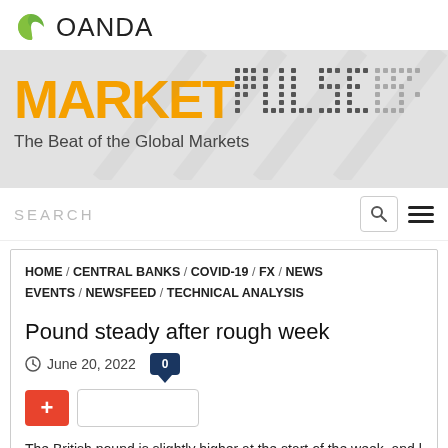[Figure (logo): OANDA logo with green leaf icon and OANDA text]
[Figure (logo): MarketPulse banner with orange MARKET text and dot-matrix PULSE, subtitle: The Beat of the Global Markets]
SEARCH
HOME / CENTRAL BANKS / COVID-19 / FX / NEWS EVENTS / NEWSFEED / TECHNICAL ANALYSIS
Pound steady after rough week
June 20, 2022
The British pound is slightly higher at the start of the week, and l